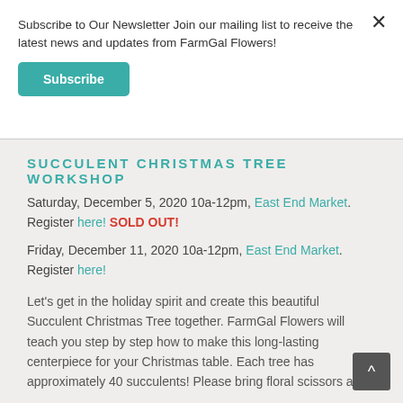Subscribe to Our Newsletter Join our mailing list to receive the latest news and updates from FarmGal Flowers!
Subscribe
SUCCULENT CHRISTMAS TREE WORKSHOP
Saturday, December 5, 2020 10a-12pm, East End Market. Register here! SOLD OUT!
Friday, December 11, 2020 10a-12pm, East End Market. Register here!
Let's get in the holiday spirit and create this beautiful Succulent Christmas Tree together. FarmGal Flowers will teach you step by step how to make this long-lasting centerpiece for your Christmas table. Each tree has approximately 40 succulents! Please bring floral scissors and